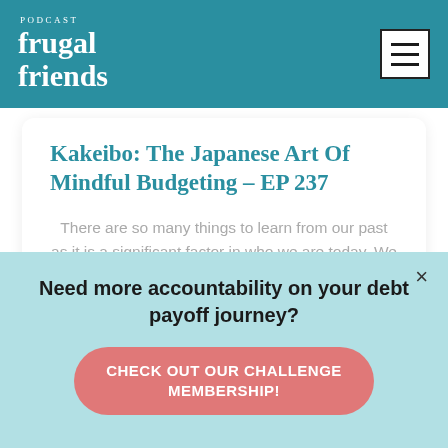frugal friends podcast
Kakeibo: The Japanese Art Of Mindful Budgeting – EP 237
There are so many things to learn from our past as it is a significant factor in who we are today. We are excited to
Need more accountability on your debt payoff journey?
CHECK OUT OUR CHALLENGE MEMBERSHIP!